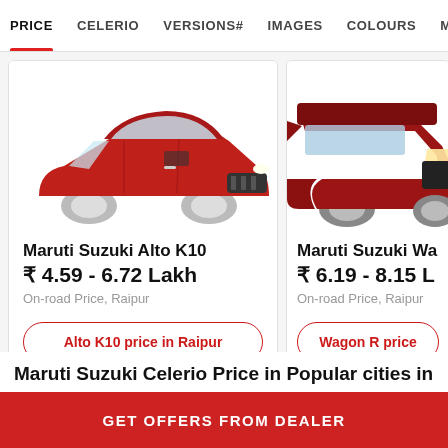PRICE | CELERIO | VERSIONS# | IMAGES | COLOURS | MILEAGE
[Figure (photo): Red Maruti Suzuki Alto K10 car image]
Maruti Suzuki Alto K10
₹ 4.59 - 6.72 Lakh
On-road Price, Raipur
Alto K10 price in Raipur
[Figure (photo): Red Maruti Suzuki WagonR car image (partially visible)]
Maruti Suzuki Wa
₹ 6.19 - 8.15 L
On-road Price, Raipur
Wagon R price
Maruti Suzuki Celerio Price in Popular cities in
GET OFFERS FROM DEALER